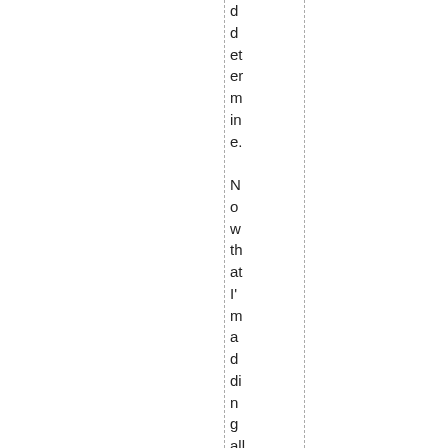ddettermine. Now that I'm madding all teams, we're loo